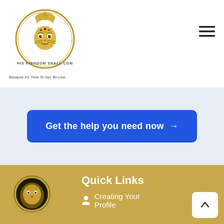[Figure (logo): Lion with crown logo for HisKingdomShall.com, circular design with golden tones, text HIS KINGDOM SHALL.COM below]
Because It's Time To Get ✟n-Line.
[Figure (other): Hamburger menu icon (three horizontal lines)]
Get the help you need now →
[Figure (logo): Smaller version of HisKingdomShall.com lion crown logo in gold tones on gold background]
Quick Links
Creating Your Profile